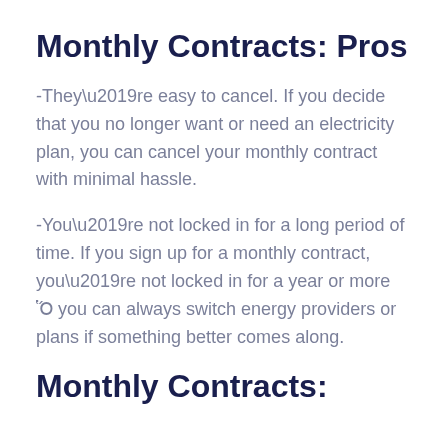Monthly Contracts: Pros
-They’re easy to cancel. If you decide that you no longer want or need an electricity plan, you can cancel your monthly contract with minimal hassle.
-You’re not locked in for a long period of time. If you sign up for a monthly contract, you’re not locked in for a year or more – you can always switch energy providers or plans if something better comes along.
Monthly Contracts: